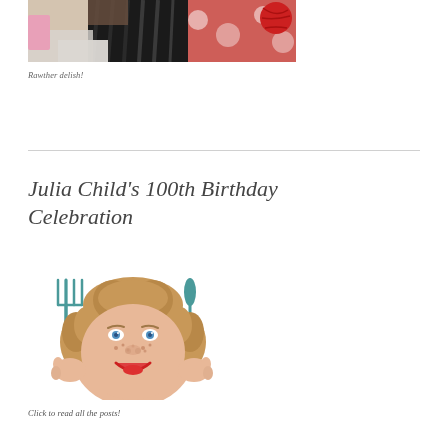[Figure (photo): Partial top photo showing dark black ruffles or fabric, a pink ribbon-like element on the left, and a red ball of yarn on the right, against a patterned red/white background.]
Rawther delish!
Julia Child's 100th Birthday Celebration
[Figure (illustration): Cartoon illustration of Julia Child's face with curly brown hair, blue eyes, freckles, and a red smile, holding a teal fork in her left hand and a teal knife in her right hand.]
Click to read all the posts!